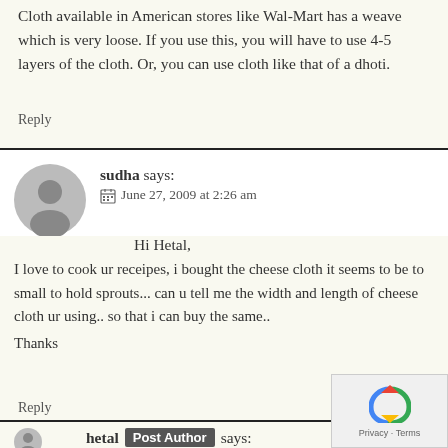Cloth available in American stores like Wal-Mart has a weave which is very loose. If you use this, you will have to use 4-5 layers of the cloth. Or, you can use cloth like that of a dhoti.
Reply
sudha says:
June 27, 2009 at 2:26 am
Hi Hetal,
I love to cook ur receipes, i bought the cheese cloth it seems to be to small to hold sprouts... can u tell me the width and length of cheese cloth ur using.. so that i can buy the same..

Thanks
Reply
hetal Post Author says: